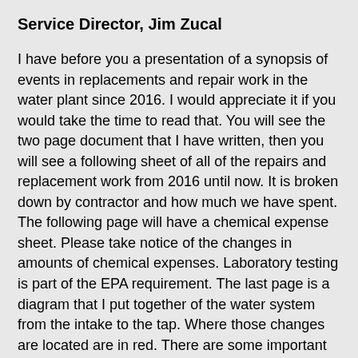Service Director, Jim Zucal
I have before you a presentation of a synopsis of events in replacements and repair work in the water plant since 2016.  I would appreciate it if you would take the time to read that.  You will see the two page document that I have written, then you will see a following sheet of all of the repairs and replacement work from 2016 until now.  It is broken down by contractor and how much we have spent.  The following page will have a chemical expense sheet.  Please take notice of the changes in amounts of chemical expenses.  Laboratory testing is part of the EPA requirement.  The last page is a diagram that I put together of the water system from the intake to the tap.  Where those changes are located are in red.  There are some important numbers and some important documentation.  Again it is a two page